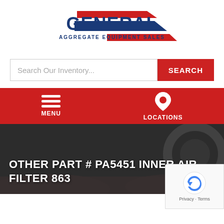[Figure (logo): General Aggregate Equipment Sales logo with red and blue chevron shapes and bold blue GENERAL text]
Search Our Inventory...
SEARCH
MENU
LOCATIONS
OTHER PART # PA5451 INNER AIR FILTER 863